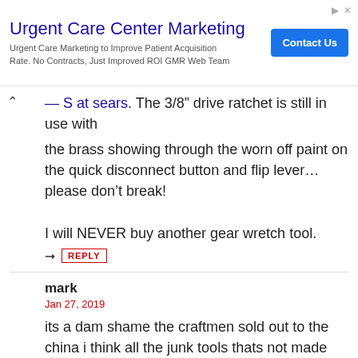[Figure (other): Advertisement banner for Urgent Care Center Marketing with blue Contact Us button]
...S at sears. The 3/8" drive ratchet is still in use with the brass showing through the worn off paint on the quick disconnect button and flip lever... please don't break!

I will NEVER buy another gear wretch tool.
REPLY
mark
Jan 27, 2019
its a dam shame the craftmen sold out to the china i think all the junk tools thats not made here should not be sold in the usa .
REPLY